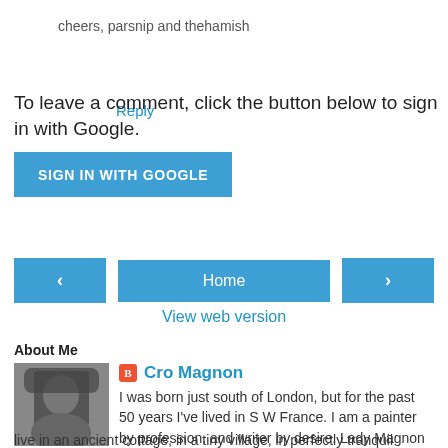cheers, parsnip and thehamish
Reply
To leave a comment, click the button below to sign in with Google.
[Figure (other): SIGN IN WITH GOOGLE button]
[Figure (other): Navigation bar with left arrow, Home, and right arrow buttons]
View web version
About Me
[Figure (photo): Profile photo of Cro Magnon - person wearing a fur hat in black and white]
Cro Magnon
I was born just south of London, but for the past 50 years I've lived in S W France. I am a painter by profession, and writer by desire. Lady Magnon and I live in an ancient cottage, in a tiny village, in perfectly tranquil surroundings. We have one small boy called Haddock. Not this